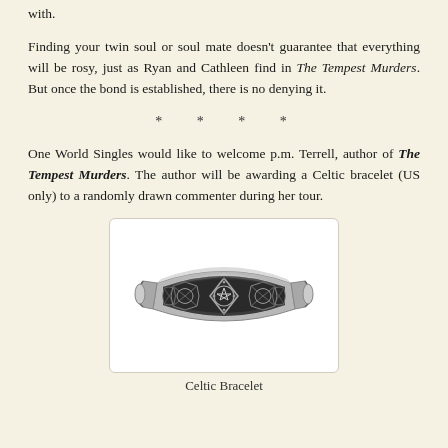with.
Finding your twin soul or soul mate doesn't guarantee that everything will be rosy, just as Ryan and Cathleen find in The Tempest Murders. But once the bond is established, there is no denying it.
* * * *
One World Singles would like to welcome p.m. Terrell, author of The Tempest Murders. The author will be awarding a Celtic bracelet (US only) to a randomly drawn commenter during her tour.
[Figure (photo): A silver Celtic bracelet with intricate knotwork design, shown in a white box with rounded border.]
Celtic Bracelet